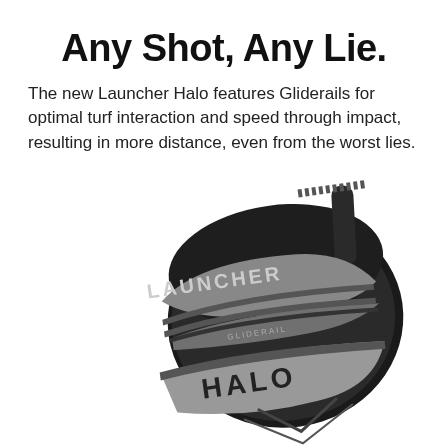Any Shot, Any Lie.
The new Launcher Halo features Gliderails for optimal turf interaction and speed through impact, resulting in more distance, even from the worst lies.
[Figure (photo): A close-up product image of the Cleveland Launcher Halo golf club head, shown at an angle. The club head is dark/black with silver metallic accents and grooves. The word 'LAUNCHER' is embossed on the upper portion and 'HALO' on the lower portion. A 'GLIDERAIL' badge is visible in the middle section.]